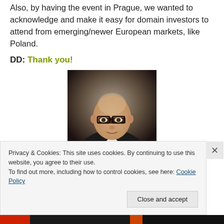Also, by having the event in Prague, we wanted to acknowledge and make it easy for domain investors to attend from emerging/newer European markets, like Poland.
DD: Thank you!
[Figure (photo): Portrait photo of a bald man wearing glasses and a dark suit with white shirt]
Privacy & Cookies: This site uses cookies. By continuing to use this website, you agree to their use. To find out more, including how to control cookies, see here: Cookie Policy